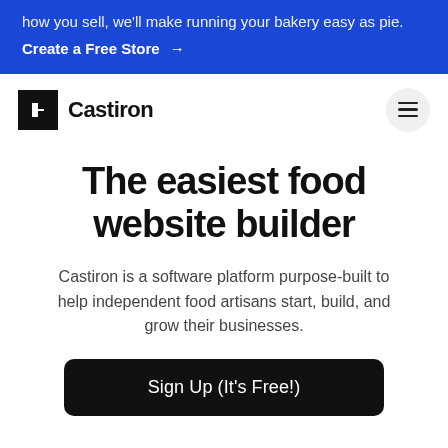how you sell, we'll make running your bakery easy as pie.
Create a Free Store →
[Figure (logo): Castiron logo: black square C icon followed by bold text 'Castiron']
The easiest food website builder
Castiron is a software platform purpose-built to help independent food artisans start, build, and grow their businesses.
Sign Up (It's Free!)